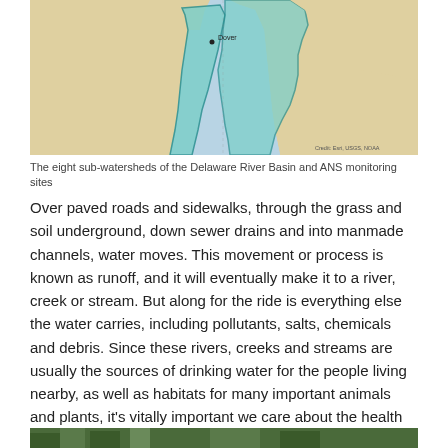[Figure (map): Map showing the eight sub-watersheds of the Delaware River Basin and ANS monitoring sites. Features teal/cyan highlighted watershed regions against a beige land background with blue water areas. A dot marks Dover. Credit: Esri, USGS, NOAA.]
The eight sub-watersheds of the Delaware River Basin and ANS monitoring sites
Over paved roads and sidewalks, through the grass and soil underground, down sewer drains and into manmade channels, water moves. This movement or process is known as runoff, and it will eventually make it to a river, creek or stream. But along for the ride is everything else the water carries, including pollutants, salts, chemicals and debris. Since these rivers, creeks and streams are usually the sources of drinking water for the people living nearby, as well as habitats for many important animals and plants, it’s vitally important we care about the health of our watersheds.
[Figure (photo): Partial photograph at the bottom of the page showing trees and outdoor scenery (cropped, only top portion visible).]